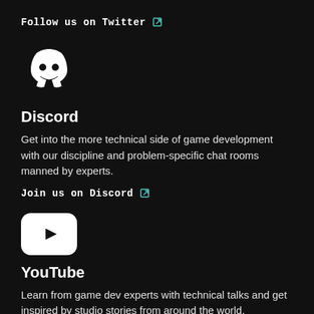Follow us on Twitter ↗
[Figure (logo): Discord logo — white ghost/controller icon on dark background]
Discord
Get into the more technical side of game development with our discipline and problem-specific chat rooms manned by experts.
Join us on Discord ↗
[Figure (logo): YouTube logo — white rounded rectangle with black play triangle]
YouTube
Learn from game dev experts with technical talks and get inspired by studio stories from around the world.
Subscribe to us on YouTube ↗